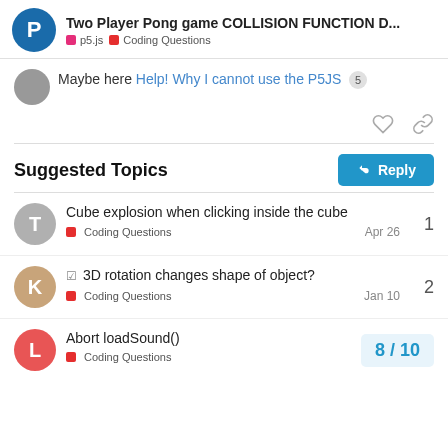Two Player Pong game COLLISION FUNCTION D... | p5.js | Coding Questions
Maybe here Help! Why I cannot use the P5JS 5
Suggested Topics
Cube explosion when clicking inside the cube
Coding Questions
Apr 26
1
☑ 3D rotation changes shape of object?
Coding Questions
Jan 10
2
Abort loadSound()
Coding Questions
8 / 10